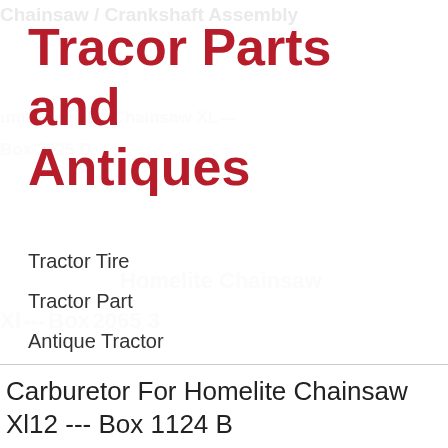Tracor Parts and Antiques
Tractor Tire
Tractor Part
Antique Tractor
Massey Ferguson Tractor
John Deere Tractor
Farm Tractor
Carburetor For Homelite Chainsaw Xl12 --- Box 1124 B